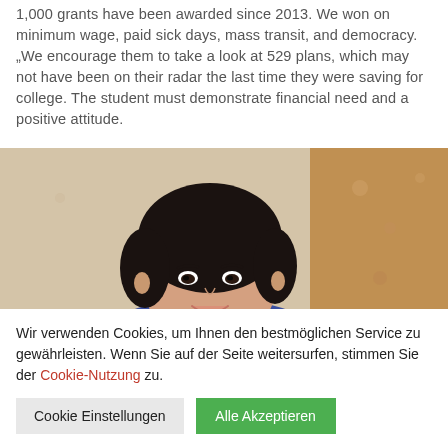1,000 grants have been awarded since 2013. We won on minimum wage, paid sick days, mass transit, and democracy. „We encourage them to take a look at 529 plans, which may not have been on their radar the last time they were saving for college. The student must demonstrate financial need and a positive attitude.
[Figure (photo): A young Asian woman smiling, photographed indoors with a warm-toned background.]
Wir verwenden Cookies, um Ihnen den bestmöglichen Service zu gewährleisten. Wenn Sie auf der Seite weitersurfen, stimmen Sie der Cookie-Nutzung zu.